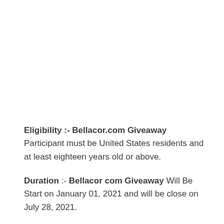Eligibility :- Bellacor.com Giveaway Participant must be United States residents and at least eighteen years old or above.
Duration :- Bellacor com Giveaway Will Be Start on January 01, 2021 and will be close on July 28, 2021.